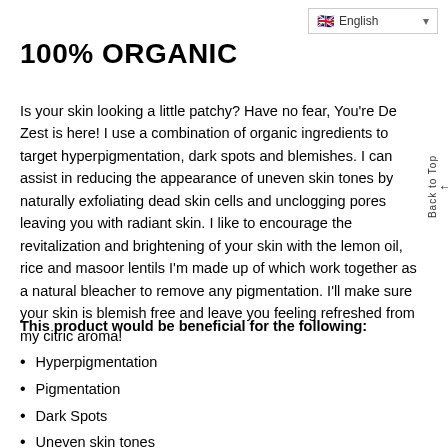English (language selector)
100% ORGANIC
Is your skin looking a little patchy? Have no fear, You're De Zest is here! I use a combination of organic ingredients to target hyperpigmentation, dark spots and blemishes. I can assist in reducing the appearance of uneven skin tones by naturally exfoliating dead skin cells and unclogging pores leaving you with radiant skin. I like to encourage the revitalization and brightening of your skin with the lemon oil, rice and masoor lentils I'm made up of which work together as a natural bleacher to remove any pigmentation. I'll make sure your skin is blemish free and leave you feeling refreshed from my citric aroma!
This product would be beneficial for the following:
Hyperpigmentation
Pigmentation
Dark Spots
Uneven skin tones
Blemishes